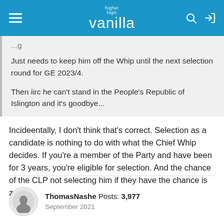higher logic vanilla
Just needs to keep him off the Whip until the next selection round for GE 2023/4.

Then iirc he can't stand in the People's Republic of Islington and it's goodbye...
Incideentally, I don't think that's correct. Selection as a candidate is nothing to do with what the Chief Whip decides. If you're a member of the Party and have been for 3 years, you're eligible for selection. And the chance of the CLP not selecting him if they have the chance is zero.
ThomasNashe Posts: 3,977
September 2021